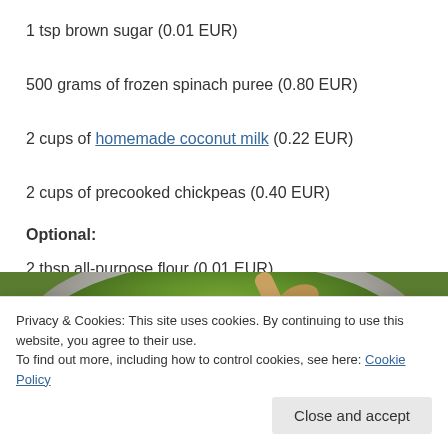1 tsp brown sugar (0.01 EUR)
500 grams of frozen spinach puree (0.80 EUR)
2 cups of homemade coconut milk (0.22 EUR)
2 cups of precooked chickpeas (0.40 EUR)
Optional:
2 tbsp all-purpose flour (0.01 EUR)
[Figure (photo): Green spinach or herb puree in a bowl with a wooden spoon, viewed from above]
Privacy & Cookies: This site uses cookies. By continuing to use this website, you agree to their use. To find out more, including how to control cookies, see here: Cookie Policy